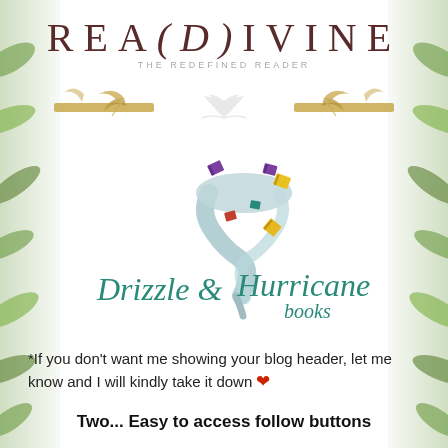REA(D)IVINE — THE REDEFINED READER
[Figure (logo): Decorative banner with gold horizontal bars, feather quills on each side, and a faded open book illustration in the center]
[Figure (logo): Drizzle & Hurricane Books logo: a cartoon tornado/swirl with colorful book squares flying out, with the text 'Drizzle & Hurricane books' in teal cursive font]
*If you don't want me showing your blog header, let me know and I will kindly take it down ❤
Two... Easy to access follow buttons